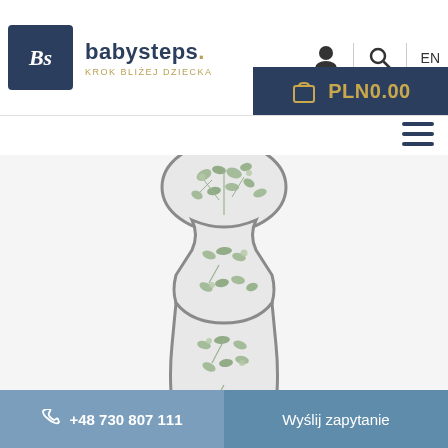[Figure (logo): Babysteps logo with navy blue square containing stylized Bs letters in italic, brand name 'babysteps.' with gold dot, tagline 'KROK BLIŻEJ DZIECKA' in gold]
PLN0.00
[Figure (photo): Baby insert/seat reducer with floral eucalyptus leaf pattern in green and white, shaped like a baby silhouette with head support]
+48 730 807 111   Wyślij zapytanie